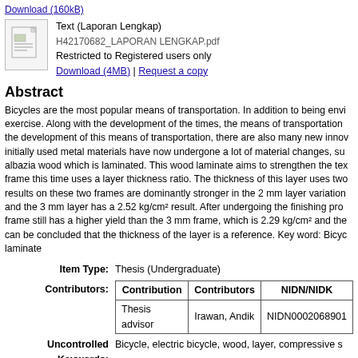Available under License Creative Commons Attribution Share Alike.
Download (160kB)
[Figure (illustration): File icon representing a text/PDF document]
Text (Laporan Lengkap)
H42170682_LAPORAN LENGKAP.pdf
Restricted to Registered users only
Download (4MB) | Request a copy
Abstract
Bicycles are the most popular means of transportation. In addition to being envi exercise. Along with the development of the times, the means of transportation the development of this means of transportation, there are also many new innov initially used metal materials have now undergone a lot of material changes, su albazia wood which is laminated. This wood laminate aims to strengthen the tex frame this time uses a layer thickness ratio. The thickness of this layer uses two results on these two frames are dominantly stronger in the 2 mm layer variation and the 3 mm layer has a 2.52 kg/cm² result. After undergoing the finishing pro frame still has a higher yield than the 3 mm frame, which is 2.29 kg/cm² and the can be concluded that the thickness of the layer is a reference. Key word: Bicy laminate
Item Type: Thesis (Undergraduate)
| Contribution | Contributors | NIDN/NIDK |
| --- | --- | --- |
| Thesis advisor | Irawan, Andik | NIDN0002068901 |
Uncontrolled Keywords: Bicycle, electric bicycle, wood, layer, compressive s